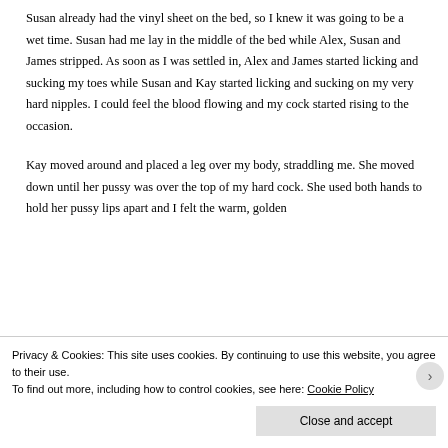Susan already had the vinyl sheet on the bed, so I knew it was going to be a wet time. Susan had me lay in the middle of the bed while Alex, Susan and James stripped. As soon as I was settled in, Alex and James started licking and sucking my toes while Susan and Kay started licking and sucking on my very hard nipples. I could feel the blood flowing and my cock started rising to the occasion.
Kay moved around and placed a leg over my body, straddling me. She moved down until her pussy was over the top of my hard cock. She used both hands to hold her pussy lips apart and I felt the warm, golden
Privacy & Cookies: This site uses cookies. By continuing to use this website, you agree to their use.
To find out more, including how to control cookies, see here: Cookie Policy
Close and accept